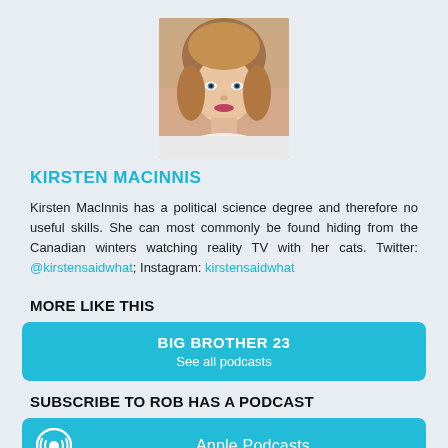[Figure (photo): Profile photo of Kirsten MacInnis, a young woman with light brown shoulder-length hair]
KIRSTEN MACINNIS
Kirsten MacInnis has a political science degree and therefore no useful skills. She can most commonly be found hiding from the Canadian winters watching reality TV with her cats. Twitter: @kirstensaidwhat; Instagram: kirstensaidwhat
MORE LIKE THIS
BIG BROTHER 23
See all podcasts
SUBSCRIBE TO ROB HAS A PODCAST
Apple Podcasts